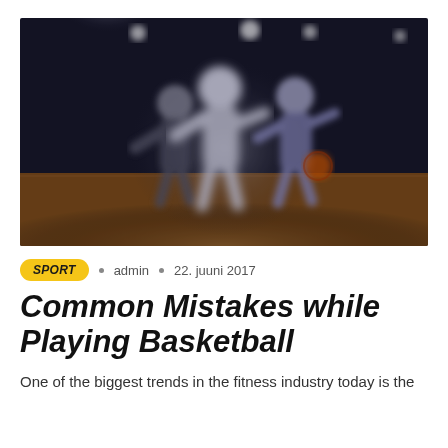[Figure (photo): Basketball players on an indoor court under bright arena lights, dark atmospheric background with wooden court floor visible]
SPORT • admin • 22. juuni 2017
Common Mistakes while Playing Basketball
One of the biggest trends in the fitness industry today is the